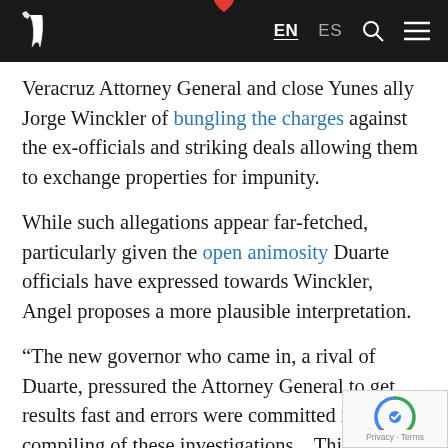EN ES [search] [menu] — navigation bar with logo
Veracruz Attorney General and close Yunes ally Jorge Winckler of bungling the charges against the ex-officials and striking deals allowing them to exchange properties for impunity.
While such allegations appear far-fetched, particularly given the open animosity Duarte officials have expressed towards Winckler, Angel proposes a more plausible interpretation.
“The new governor who came in, a rival of Duarte, pressured the Attorney General to get results fast and errors were committed in compiling of these investigations... This ca some of these cases effectively to fall apart,